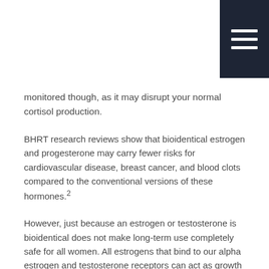[Figure (other): Dark navy hamburger menu icon in top-right corner with three white horizontal bars]
monitored though, as it may disrupt your normal cortisol production.
BHRT research reviews show that bioidentical estrogen and progesterone may carry fewer risks for cardiovascular disease, breast cancer, and blood clots compared to the conventional versions of these hormones.²
However, just because an estrogen or testosterone is bioidentical does not make long-term use completely safe for all women. All estrogens that bind to our alpha estrogen and testosterone receptors can act as growth promoters in estrogen-sensitive breast and uterine tissue.
Long-term unmonitored use of any hormones may cause rare side effects like acne, gas and bloating, weight gain, fatigue, mood swings, increased facial hair, stroke, gallbladder or heart disease, blood clots, or cancer.
If your healthcare provider determines that you are a candidate,